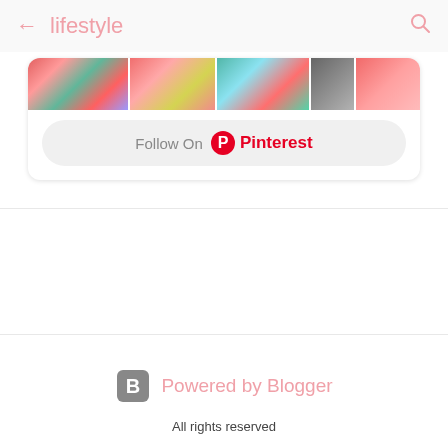← lifestyle 🔍
[Figure (screenshot): Pinterest follow widget showing a row of colorful lifestyle images at the top and a 'Follow On Pinterest' button below]
Powered by Blogger
All rights reserved